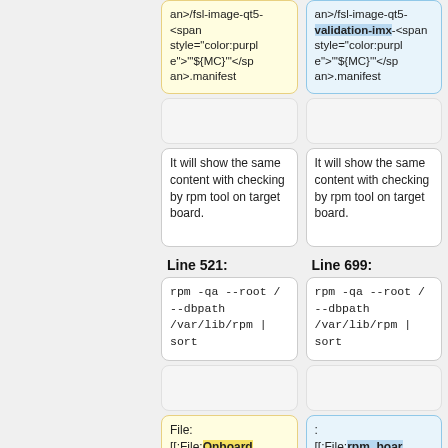an>/fsl-image-qt5-<span style="color:purple">"'${MC}'"</span>.manifest
an>/fsl-image-qt5-validation-imx-<span style="color:purple">"'${MC}'"</span>.manifest
It will show the same content with checking by rpm tool on target board.
It will show the same content with checking by rpm tool on target board.
Line 521:
Line 699:
rpm -qa --root /--dbpath /var/lib/rpm | sort
rpm -qa --root /--dbpath /var/lib/rpm | sort
File: [[:File:Onboard
: [[:File:rpm_boar